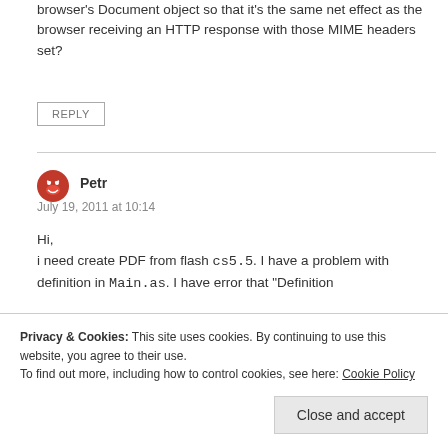browser's Document object so that it's the same net effect as the browser receiving an HTTP response with those MIME headers set?
REPLY
Petr
July 19, 2011 at 10:14
Hi,
i need create PDF from flash cs5.5. I have a problem with definition in Main.as. I have error that “Definition
Privacy & Cookies: This site uses cookies. By continuing to use this website, you agree to their use.
To find out more, including how to control cookies, see here: Cookie Policy
Close and accept